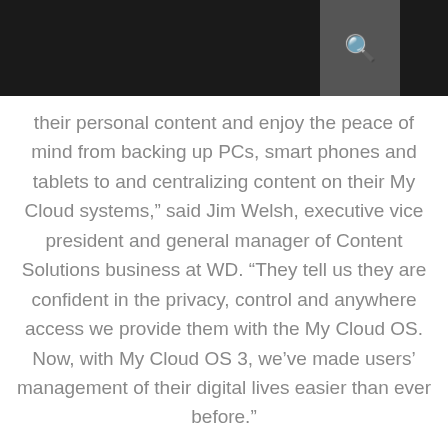their personal content and enjoy the peace of mind from backing up PCs, smart phones and tablets to and centralizing content on their My Cloud systems,” said Jim Welsh, executive vice president and general manager of Content Solutions business at WD. “They tell us they are confident in the privacy, control and anywhere access we provide them with the My Cloud OS. Now, with My Cloud OS 3, we’ve made users’ management of their digital lives easier than ever before.”